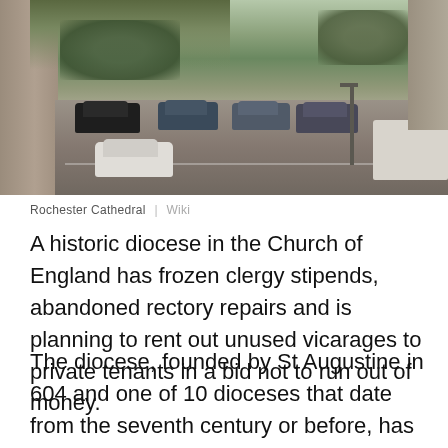[Figure (photo): Aerial/elevated view of Rochester Cathedral area showing a car park with multiple vehicles including a white hatchback, dark sedans, and a white van, with stone walls and trees visible]
Rochester Cathedral | Wiki
A historic diocese in the Church of England has frozen clergy stipends, abandoned rectory repairs and is planning to rent out unused vicarages to private tenants in a bid not to run out of money.
The diocese, founded by St Augustine in 604 and one of 10 dioceses that date from the seventh century or before, has for "some years" been "spending more than it has received in income," according to the Bishop of Rochester, James